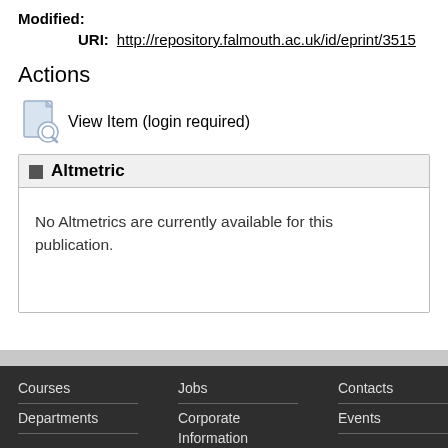Modified:
URI: http://repository.falmouth.ac.uk/id/eprint/3515
Actions
View Item (login required)
Altmetric
No Altmetrics are currently available for this publication.
Courses  Jobs  Contacts  LOCATIO
Departments  Corporate Information  Events
(Falmouth...)